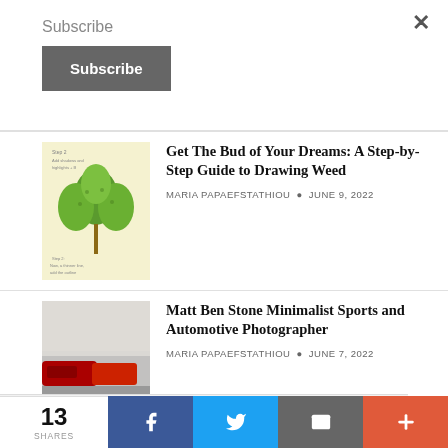Subscribe
Subscribe
Get The Bud of Your Dreams: A Step-by-Step Guide to Drawing Weed
MARIA PAPAEFSTATHIOU • JUNE 9, 2022
Matt Ben Stone Minimalist Sports and Automotive Photographer
MARIA PAPAEFSTATHIOU • JUNE 7, 2022
Privacy & Cookies: This site uses cookies. By continuing to use this website, you agree to their use.
To find out more, including how to control cookies, see here: Cookie Policy
13 SHARES